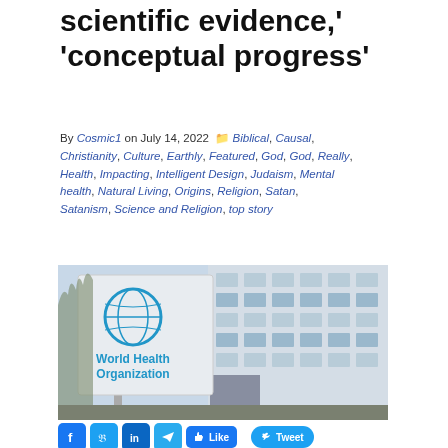scientific evidence,' 'conceptual progress'
By Cosmic1 on July 14, 2022  Biblical, Causal, Christianity, Culture, Earthly, Featured, God, God, Really Health, Impacting, Intelligent Design, Judaism, Mental health, Natural Living, Origins, Religion, Satan, Satanism, Science and Religion, top story
[Figure (photo): World Health Organization sign/logo outside a modern building with bare trees in background]
[Figure (infographic): Social sharing buttons: Facebook, Twitter, LinkedIn, Telegram, Like button, Tweet button]